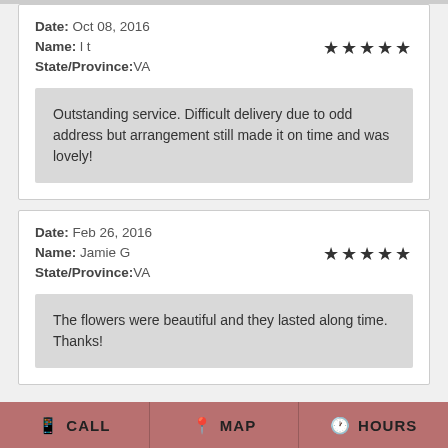Date: Oct 08, 2016
Name: l t
State/Province:VA
Outstanding service. Difficult delivery due to odd address but arrangement still made it on time and was lovely!
Date: Feb 26, 2016
Name: Jamie G
State/Province:VA
The flowers were beautiful and they lasted along time. Thanks!
CALL   MAP   HOURS